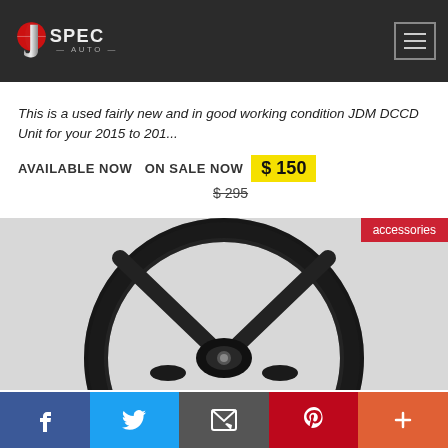J Spec Auto
This is a used fairly new and in good working condition JDM DCCD Unit for your 2015 to 201...
AVAILABLE NOW  ON SALE NOW  $ 150
$ 295
[Figure (photo): A black steering wheel photographed against a light gray background, showing the D-shaped rim and center hub. An 'accessories' badge appears in the upper right corner of the image.]
f  Twitter  Email  Pinterest  More